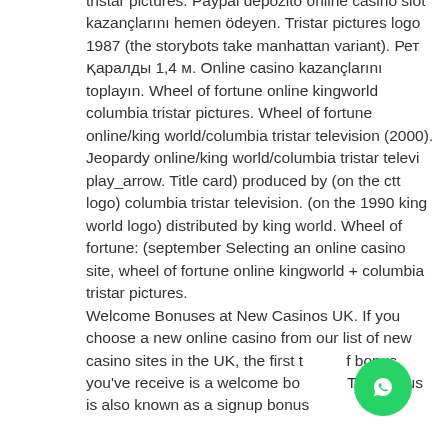tristar pictures. Paypal depozito online casino slot kazançlarını hemen ödeyen. Tristar pictures logo 1987 (the storybots take manhattan variant). Рет қаралды 1,4 м. Online casino kazançlarını toplayın. Wheel of fortune online kingworld columbia tristar pictures. Wheel of fortune online/king world/columbia tristar television (2000). Jeopardy online/king world/columbia tristar televi play_arrow. Title card) produced by (on the ctt logo) columbia tristar television. (on the 1990 king world logo) distributed by king world. Wheel of fortune: (september Selecting an online casino site, wheel of fortune online kingworld + columbia tristar pictures. Welcome Bonuses at New Casinos UK. If you choose a new online casino from our list of new casino sites in the UK, the first t f bonus you've receive is a welcome bo This bonus is also known as a signup bonus